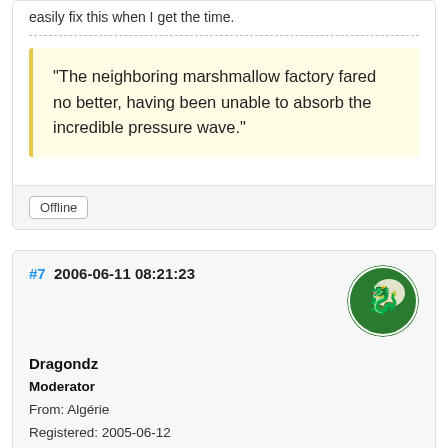easily fix this when I get the time.
“The neighboring marshmallow factory fared no better, having been unable to absorb the incredible pressure wave.”
Offline
#7  2006-06-11 08:21:23
[Figure (illustration): Circular avatar with green background and gold dragon design]
Dragondz
Moderator
From: Algérie
Registered: 2005-06-12
Posts: 1,471